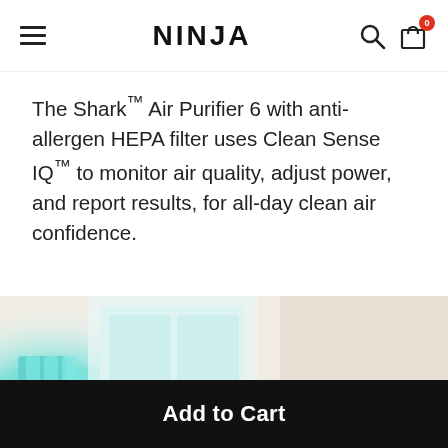NINJA
The Shark™ Air Purifier 6 with anti-allergen HEPA filter uses Clean Sense IQ™ to monitor air quality, adjust power, and report results, for all-day clean air confidence.
[Figure (photo): Interior room scene with a teal/cyan glowing air purifier on the left side and a wooden shelf with plants and framed pictures on the right side]
Add to Cart